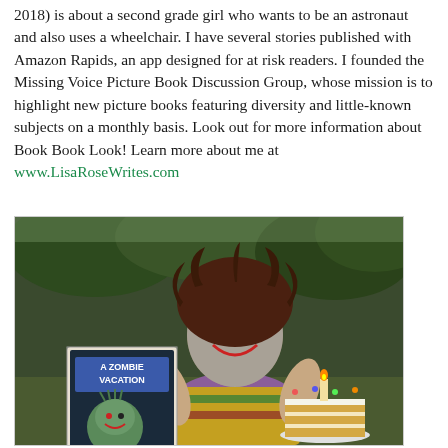2018) is about a second grade girl who wants to be an astronaut and also uses a wheelchair. I have several stories published with Amazon Rapids, an app designed for at risk readers. I founded the Missing Voice Picture Book Discussion Group, whose mission is to highlight new picture books featuring diversity and little-known subjects on a monthly basis. Look out for more information about Book Book Look! Learn more about me at www.LisaRoseWrites.com
[Figure (photo): A smiling woman dressed as a zombie with face paint, holding up a children's book titled 'A Zombie Vacation'. She has wild dark hair and is sitting outdoors with trees in the background. In front of her is a slice of layered cake on a plate with a candle.]